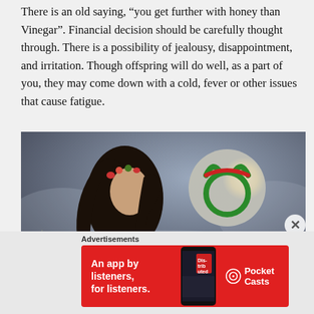There is an old saying, “you get further with honey than Vinegar”. Financial decision should be carefully thought through. There is a possibility of jealousy, disappointment, and irritation. Though offspring will do well, as a part of you, they may come down with a cold, fever or other issues that cause fatigue.
[Figure (photo): A dark-haired woman with a floral headband gazing upward against a dreamy moonlit sky background, with a green and red Taurus zodiac symbol overlaid on a large moon]
Advertisements
[Figure (other): Pocket Casts advertisement banner: red background with text 'An app by listeners, for listeners.' and Pocket Casts logo]